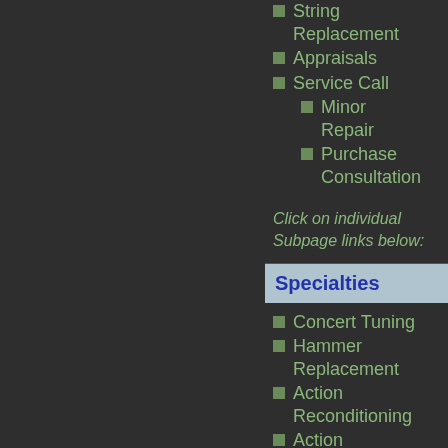String Replacement
Appraisals
Service Call
Minor Repair
Purchase Consultation
Click on individual Subpage links below:
Specialties
Concert Tuning
Hammer Replacement
Action Reconditioning
Action